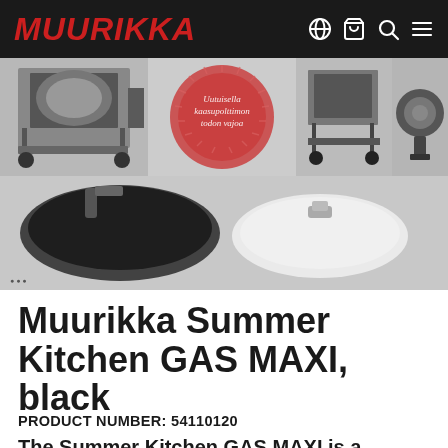MUURIKKA
[Figure (photo): Product gallery showing Muurikka Summer Kitchen GAS MAXI in black from multiple angles: full unit with cart, promotional badge in Finnish, side view of cart, separate burner unit, and covers/accessories]
Muurikka Summer Kitchen GAS MAXI, black
PRODUCT NUMBER: 54110120
The Summer Kitchen GAS MAXI is a